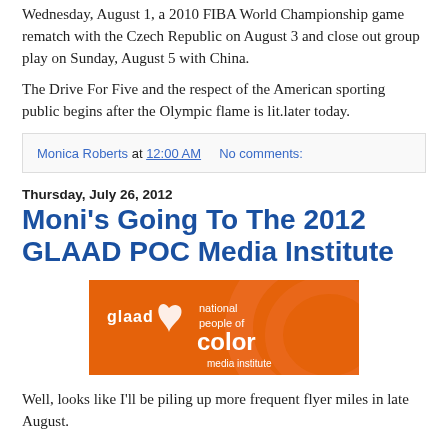Wednesday, August 1, a 2010 FIBA World Championship game rematch with the Czech Republic on August 3 and close out group play on Sunday, August 5 with China.
The Drive For Five and the respect of the American sporting public begins after the Olympic flame is lit.later today.
Monica Roberts at 12:00 AM   No comments:
Thursday, July 26, 2012
Moni's Going To The 2012 GLAAD POC Media Institute
[Figure (logo): GLAAD National People of Color Media Institute banner on orange background]
Well, looks like I'll be piling up more frequent flyer miles in late August.